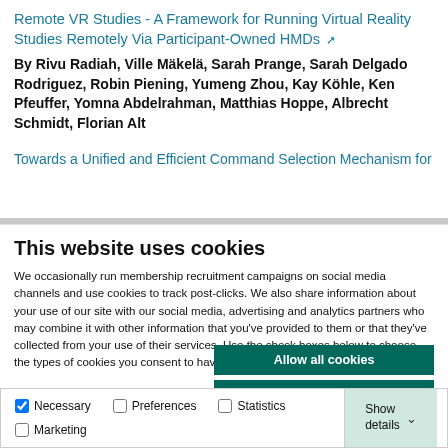Remote VR Studies - A Framework for Running Virtual Reality Studies Remotely Via Participant-Owned HMDs
By Rivu Radiah, Ville Mäkelä, Sarah Prange, Sarah Delgado Rodriguez, Robin Piening, Yumeng Zhou, Kay Köhle, Ken Pfeuffer, Yomna Abdelrahman, Matthias Hoppe, Albrecht Schmidt, Florian Alt
Towards a Unified and Efficient Command Selection Mechanism for
This website uses cookies
We occasionally run membership recruitment campaigns on social media channels and use cookies to track post-clicks. We also share information about your use of our site with our social media, advertising and analytics partners who may combine it with other information that you've provided to them or that they've collected from your use of their services. Use the check boxes below to choose the types of cookies you consent to have stored on your device.
Allow all cookies
Allow selected cookies
Use necessary cookies only
Necessary | Preferences | Statistics | Marketing | Show details